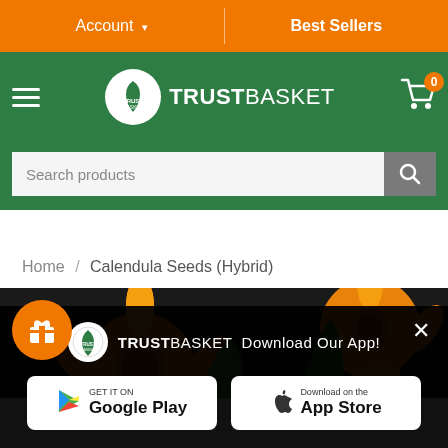Account  Best Sellers
[Figure (logo): TrustBasket logo with green header, hamburger menu, cart icon with 0 badge]
Search products
Home / Calendula Seeds (Hybrid)
[Figure (photo): Calendula flowers (orange/yellow) product image with gift badge icon]
[Figure (screenshot): TrustBasket app download popup with Google Play and App Store buttons]